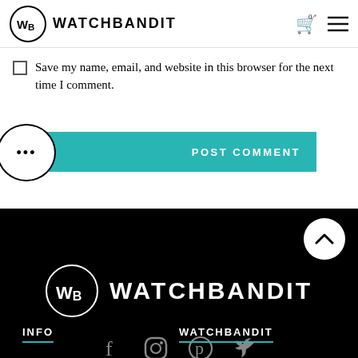WB WATCHBANDIT
Save my name, email, and website in this browser for the next time I comment.
POST COMMENT
[Figure (logo): WatchBandit logo in white on black footer with WATCHBANDIT text]
[Figure (infographic): Social media icons: Facebook, Instagram, Pinterest, Twitter]
INFO
WATCHBANDIT